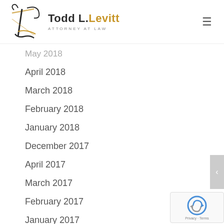[Figure (logo): Todd L. Levitt Attorney at Law logo with stylized TL monogram in black and gold]
May 2018
April 2018
March 2018
February 2018
January 2018
December 2017
April 2017
March 2017
February 2017
January 2017